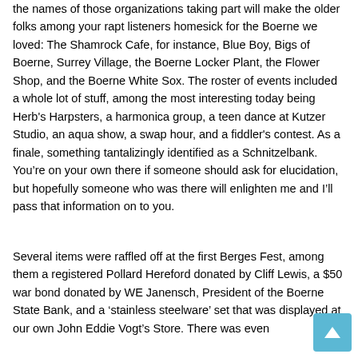the names of those organizations taking part will make the older folks among your rapt listeners homesick for the Boerne we loved: The Shamrock Cafe, for instance, Blue Boy, Bigs of Boerne, Surrey Village, the Boerne Locker Plant, the Flower Shop, and the Boerne White Sox. The roster of events included a whole lot of stuff, among the most interesting today being Herb's Harpsters, a harmonica group, a teen dance at Kutzer Studio, an aqua show, a swap hour, and a fiddler's contest. As a finale, something tantalizingly identified as a Schnitzelbank. You're on your own there if someone should ask for elucidation, but hopefully someone who was there will enlighten me and I'll pass that information on to you.
Several items were raffled off at the first Berges Fest, among them a registered Pollard Hereford donated by Cliff Lewis, a $50 war bond donated by WE Janensch, President of the Boerne State Bank, and a 'stainless steelware' set that was displayed at our own John Eddie Vogt's Store. There was even